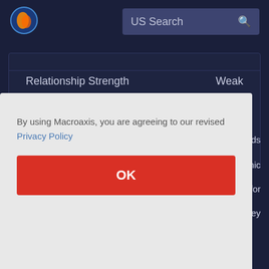[Figure (logo): Macroaxis globe logo - orange and blue circular icon]
US Search
Relationship Strength
Weak
View All Relationships
By using Macroaxis, you are agreeing to our revised Privacy Policy
OK
Foods Corp books under different categories such as cash